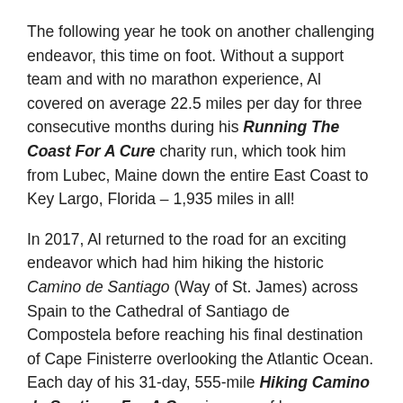The following year he took on another challenging endeavor, this time on foot. Without a support team and with no marathon experience, Al covered on average 22.5 miles per day for three consecutive months during his Running The Coast For A Cure charity run, which took him from Lubec, Maine down the entire East Coast to Key Largo, Florida – 1,935 miles in all!
In 2017, Al returned to the road for an exciting endeavor which had him hiking the historic Camino de Santiago (Way of St. James) across Spain to the Cathedral of Santiago de Compostela before reaching his final destination of Cape Finisterre overlooking the Atlantic Ocean. Each day of his 31-day, 555-mile Hiking Camino de Santiago For A Cure journey of hope was dedicated to a different person living with Sturge-Weber Syndrome.
Through his extraordinary athletic endeavors, Al has created awareness about Sturge-Weber Syndrome in both the United States and Spain, raised critical funds for medical research